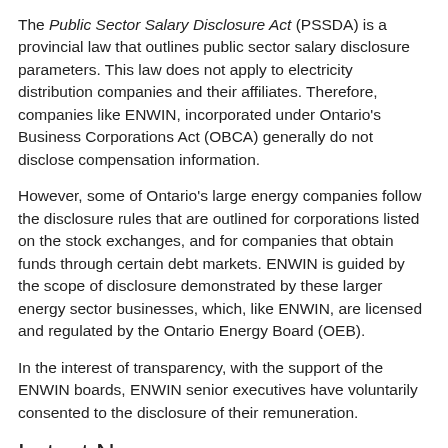The Public Sector Salary Disclosure Act (PSSDA) is a provincial law that outlines public sector salary disclosure parameters. This law does not apply to electricity distribution companies and their affiliates. Therefore, companies like ENWIN, incorporated under Ontario's Business Corporations Act (OBCA) generally do not disclose compensation information.
However, some of Ontario's large energy companies follow the disclosure rules that are outlined for corporations listed on the stock exchanges, and for companies that obtain funds through certain debt markets. ENWIN is guided by the scope of disclosure demonstrated by these larger energy sector businesses, which, like ENWIN, are licensed and regulated by the Ontario Energy Board (OEB).
In the interest of transparency, with the support of the ENWIN boards, ENWIN senior executives have voluntarily consented to the disclosure of their remuneration.
Latest News
Pickleball and Tennis Courts Ready in Forest Glade